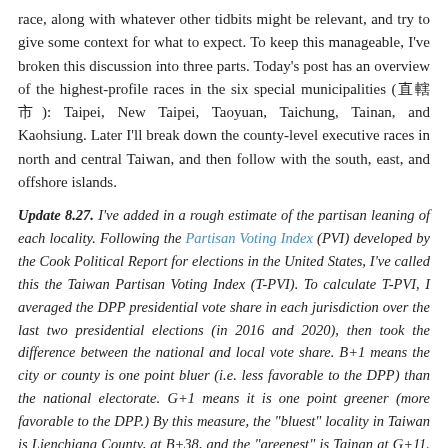race, along with whatever other tidbits might be relevant, and try to give some context for what to expect. To keep this manageable, I've broken this discussion into three parts. Today's post has an overview of the highest-profile races in the six special municipalities (直轄市): Taipei, New Taipei, Taoyuan, Taichung, Tainan, and Kaohsiung. Later I'll break down the county-level executive races in north and central Taiwan, and then follow with the south, east, and offshore islands.
Update 8.27. I've added in a rough estimate of the partisan leaning of each locality. Following the Partisan Voting Index (PVI) developed by the Cook Political Report for elections in the United States, I've called this the Taiwan Partisan Voting Index (T-PVI). To calculate T-PVI, I averaged the DPP presidential vote share in each jurisdiction over the last two presidential elections (in 2016 and 2020), then took the difference between the national and local vote share. B+1 means the city or county is one point bluer (i.e. less favorable to the DPP) than the national electorate. G+1 means it is one point greener (more favorable to the DPP.) By this measure, the "bluest" locality in Taiwan is Lienchiang County, at B+38, and the "greenest" is Tainan at G+11. Of Taiwan's 22 localities, 14 are bluer than average, 7 are greener, and one (Changhua County) is even. So, in a national political environment where the